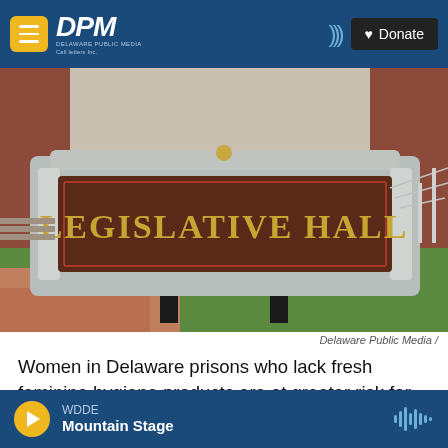DPM Delaware Public Media — Donate
[Figure (photo): Sign for Legislative Hall on a grass lawn with brick walkway and building in background]
Delaware Public Media /
Women in Delaware prisons who lack fresh feminine hygiene products are at greater risk for health problems.
WDDE Mountain Stage